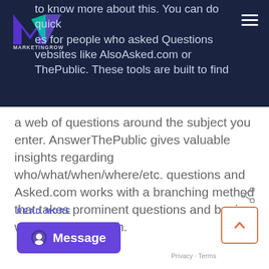MarketingRow - navigation bar with logo and hamburger menu
to know more about this. You can do quick searches for people who asked Questions websites like AlsoAsked.com or AnswerThePublic. These tools are built to find a web of questions around the subject you enter. AnswerThePublic gives valuable insights regarding who/what/when/where/etc. questions and Asked.com works with a branching method that takes prominent questions and begins what people search.
READ MORE
Message
Privacy · Terms